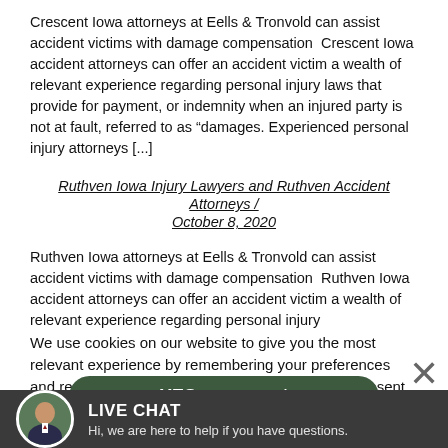Crescent Iowa attorneys at Eells & Tronvold can assist accident victims with damage compensation  Crescent Iowa accident attorneys can offer an accident victim a wealth of relevant experience regarding personal injury laws that provide for payment, or indemnity when an injured party is not at fault, referred to as “damages. Experienced personal injury attorneys [...]
Ruthven Iowa Injury Lawyers and Ruthven Accident Attorneys / October 8, 2020
Ruthven Iowa attorneys at Eells & Tronvold can assist accident victims with damage compensation  Ruthven Iowa accident attorneys can offer an accident victim a wealth of relevant experience regarding personal injury
We use cookies on our website to give you the most relevant experience by remembering your preferences and repe... consent.
YES, start now!
LIVE CHAT
Hi, we are here to help if you have questions.